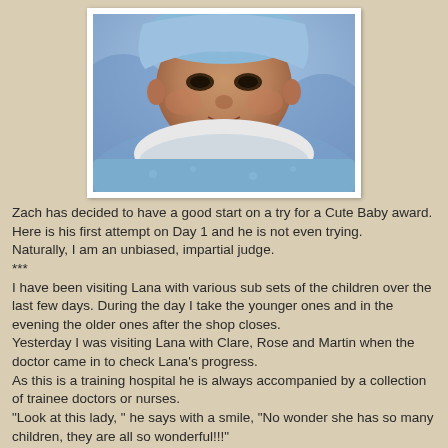[Figure (photo): Close-up photo of a newborn baby (Zach) wrapped in a blue blanket, looking at the camera. Photo has a white polaroid-style frame.]
Zach has decided to have a good start on a try for a Cute Baby award.  Here is his first attempt on Day 1 and he is not even trying.
Naturally, I am an unbiased, impartial judge.
***
I have been visiting Lana with various sub sets of the children over the last few days.  During the day I take the younger ones and in the evening the older ones after the shop closes.
Yesterday I was visiting Lana with Clare, Rose and Martin when the doctor came in to check Lana's progress.
As this is a training hospital he is always accompanied by a collection of trainee doctors or nurses.
"Look at this lady, " he says with a smile, "No wonder she has so many children, they are all so wonderful!!!"